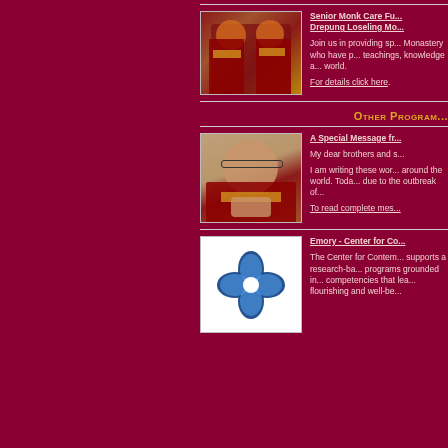[Figure (photo): Two senior monks in red and orange robes seated together]
Senior Monk Care Fu... Drepung Loseling Mo...
Join us in providing sp... Monastery who have p... teachings, knowledge a... world.
For details click here.
Other Program...
[Figure (photo): The Dalai Lama smiling, wearing glasses and red robes with hands pressed together]
A Special Message fr...
My dear brothers and s...
I am writing these wor... around the world. Toda... due to the outbreak of...
To read complete mes...
[Figure (logo): Emory Center for Contemplative Science logo - blue flower petals forming a circle]
Emory - Center for Co...
The Center for Contem... supports a research-ba... programs grounded in... competencies that lea... flourishing and well-be...